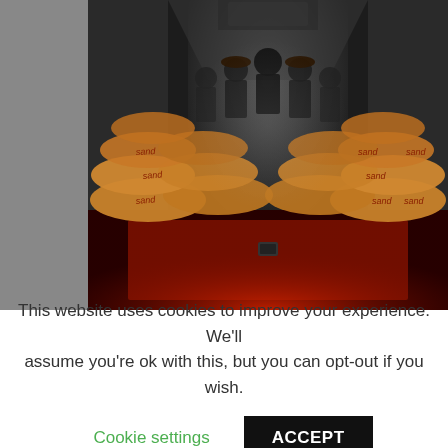[Figure (photo): A dark, cinematic scene showing figures in silhouette at the back of what appears to be a vehicle or enclosed space, with stacks of sandbags labeled 'sand' on both sides. The lighting is dramatic with a reddish glow at the bottom and misty atmosphere. The image is styled to resemble a movie still, possibly Star Wars themed.]
isney: Where should the next
This website uses cookies to improve your experience. We'll assume you're ok with this, but you can opt-out if you wish.
Cookie settings   ACCEPT